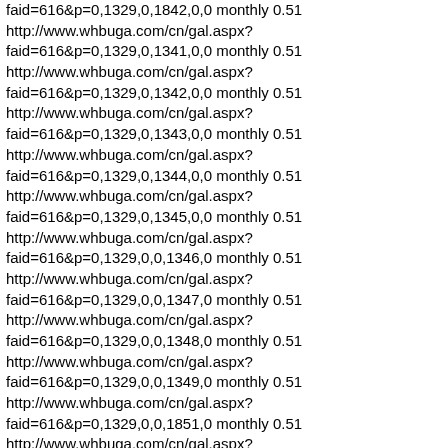faid=616&p=0,1329,0,1842,0,0 monthly 0.51
http://www.whbuga.com/cn/gal.aspx?faid=616&p=0,1329,0,1341,0,0 monthly 0.51
http://www.whbuga.com/cn/gal.aspx?faid=616&p=0,1329,0,1342,0,0 monthly 0.51
http://www.whbuga.com/cn/gal.aspx?faid=616&p=0,1329,0,1343,0,0 monthly 0.51
http://www.whbuga.com/cn/gal.aspx?faid=616&p=0,1329,0,1344,0,0 monthly 0.51
http://www.whbuga.com/cn/gal.aspx?faid=616&p=0,1329,0,1345,0,0 monthly 0.51
http://www.whbuga.com/cn/gal.aspx?faid=616&p=0,1329,0,0,1346,0 monthly 0.51
http://www.whbuga.com/cn/gal.aspx?faid=616&p=0,1329,0,0,1347,0 monthly 0.51
http://www.whbuga.com/cn/gal.aspx?faid=616&p=0,1329,0,0,1348,0 monthly 0.51
http://www.whbuga.com/cn/gal.aspx?faid=616&p=0,1329,0,0,1349,0 monthly 0.51
http://www.whbuga.com/cn/gal.aspx?faid=616&p=0,1329,0,0,1851,0 monthly 0.51
http://www.whbuga.com/cn/gal.aspx?faid=616&p=0,1329,0,0,0,1350 monthly 0.51
http://www.whbuga.com/cn/gal.aspx?faid=616&p=0,1329,0,0,0,1351 monthly 0.51
http://www.whbuga.com/cn/gal.aspx?